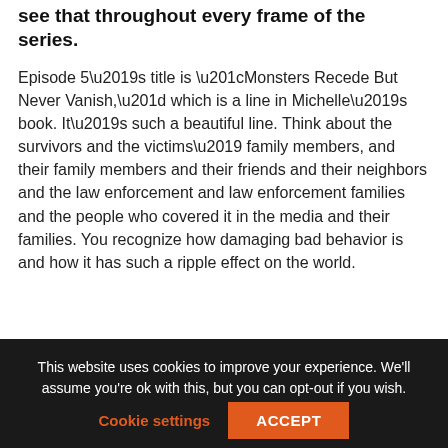see that throughout every frame of the series.
Episode 5's title is “Monsters Recede But Never Vanish,” which is a line in Michelle’s book. It’s such a beautiful line. Think about the survivors and the victims’ family members, and their family members and their friends and their neighbors and the law enforcement and law enforcement families and the people who covered it in the media and their families. You recognize how damaging bad behavior is and how it has such a ripple effect on the world.
Melanie [Barbeau], our citizen sleuth who worked very closely with Michelle, expresses what I think a lot of
This website uses cookies to improve your experience. We’ll assume you’re ok with this, but you can opt-out if you wish.
Cookie settings   ACCEPT